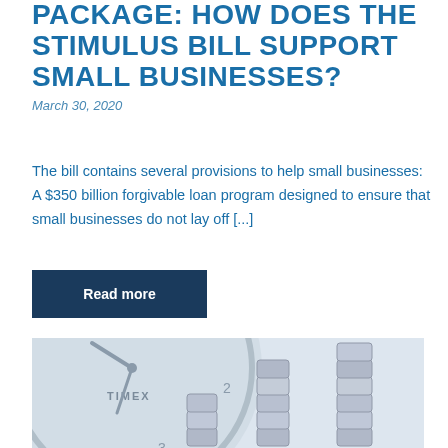PACKAGE: HOW DOES THE STIMULUS BILL SUPPORT SMALL BUSINESSES?
March 30, 2020
The bill contains several provisions to help small businesses: A $350 billion forgivable loan program designed to ensure that small businesses do not lay off [...]
Read more
[Figure (photo): A Timex analog clock face in the background with stacks of growing silver coins in the foreground, suggesting financial growth over time.]